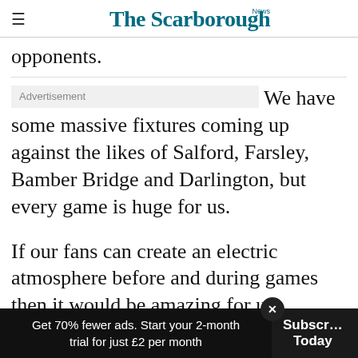The Scarborough News
opponents.
We have some massive fixtures coming up against the likes of Salford, Farsley, Bamber Bridge and Darlington, but every game is huge for us.
If our fans can create an electric atmosphere before and during games then it would be amazing for us.
Get 70% fewer ads. Start your 2-month trial for just £2 per month  Subscribe Today